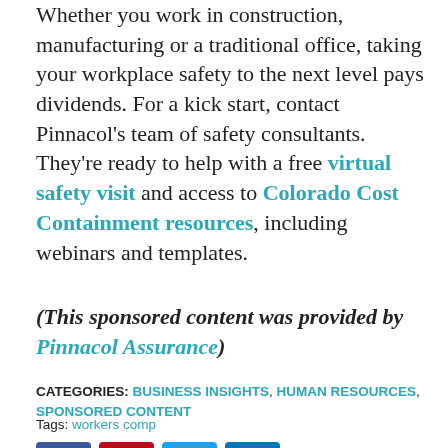Whether you work in construction, manufacturing or a traditional office, taking your workplace safety to the next level pays dividends. For a kick start, contact Pinnacol's team of safety consultants. They're ready to help with a free virtual safety visit and access to Colorado Cost Containment resources, including webinars and templates.
(This sponsored content was provided by Pinnacol Assurance)
CATEGORIES: BUSINESS INSIGHTS, HUMAN RESOURCES, SPONSORED CONTENT
Tags: workers comp
[Figure (other): Four social media share buttons: Facebook (blue), Pinterest (red), Twitter (light blue), LinkedIn (dark blue)]